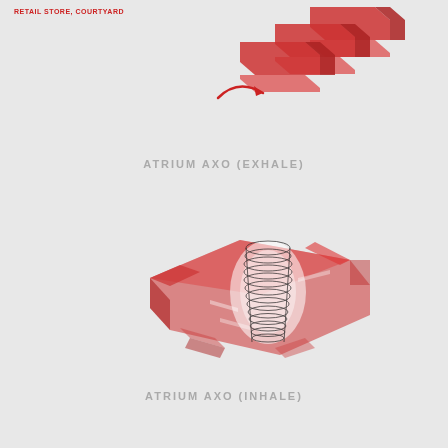RETAIL STORE, COURTYARD
[Figure (engineering-diagram): Axonometric diagram of building atrium in exhale state — exploded isometric view showing red massing blocks separated to illustrate ventilation exhale condition, with red arrow indicating air flow direction]
ATRIUM AXO (EXHALE)
[Figure (engineering-diagram): Axonometric diagram of building atrium in inhale state — red semi-transparent massing block with spiral/helical airflow path drawn in thin black lines through the central atrium void, showing inhalation/intake air circulation pattern]
ATRIUM AXO (INHALE)